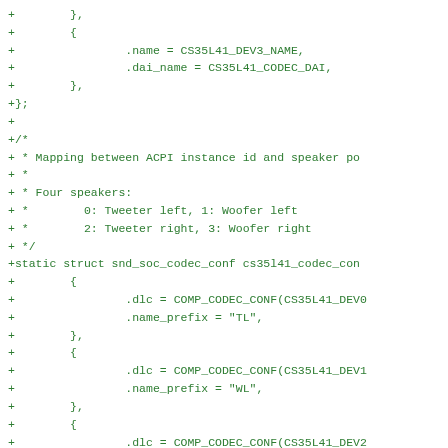Code diff showing struct definitions with .name = CS35L41_DEV3_NAME, .dai_name = CS35L41_CODEC_DAI, and cs35l41_codec_conf struct with COMP_CODEC_CONF entries for TL, WL, TR prefixes